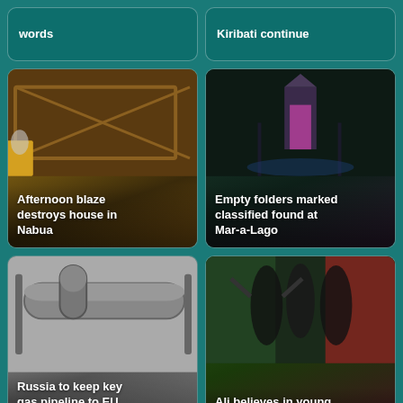words
Kiribati continue
[Figure (photo): Burnt house ruins with firefighter in yellow suit amid smoke and debris]
Afternoon blaze destroys house in Nabua
[Figure (photo): Illuminated building at night with pink and blue lights, palm trees in background]
Empty folders marked classified found at Mar-a-Lago
[Figure (photo): Industrial gas pipeline infrastructure, black and grey pipes against sky]
Russia to keep key gas pipeline to EU closed
[Figure (photo): Football players in black jerseys celebrating, player number 22 visible]
Ali believes in young Men-in-Black
[Figure (photo): Cricket player in blue uniform at stadium]
[Figure (photo): Person holding banner/flag at outdoor event]